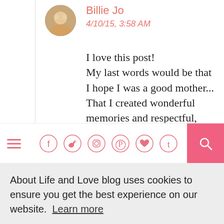Billie Jo
4/10/15, 3:58 AM
I love this post!
My last words would be that I hope I was a good mother... That I created wonderful memories and respectful, happy, healthful
About Life and Love blog uses cookies to ensure you get the best experience on our website. Learn more
Got it!